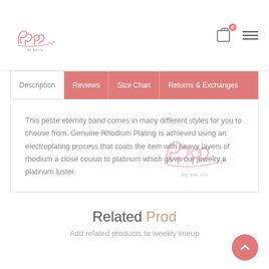[Figure (logo): bn by necole cursive logo in pink]
Description	Reviews	Size Chart	Returns & Exchanges
This petite eternity band comes in many different styles for you to choose from. Genuine Rhodium Plating is achieved using an electroplating process that coats the item with heavy layers of rhodium a close cousin to platinum which gives our jewelry a platinum luster.
Related Produ
Add related products to weekly lineup